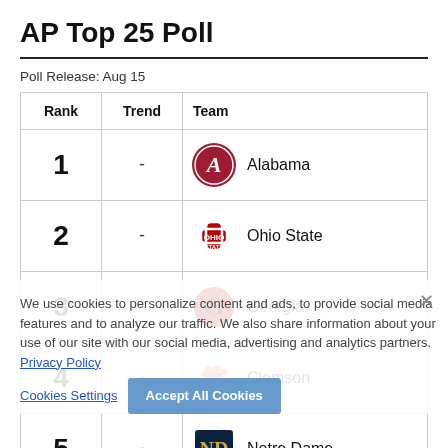AP Top 25 Poll
Poll Release: Aug 15
| Rank | Trend | Team |
| --- | --- | --- |
| 1 | - | Alabama |
| 2 | - | Ohio State |
| 3 | - | Georgia |
| 4 | - | Clemson |
| 5 | - | Notre Dame |
| 6 | - | Texas A&M |